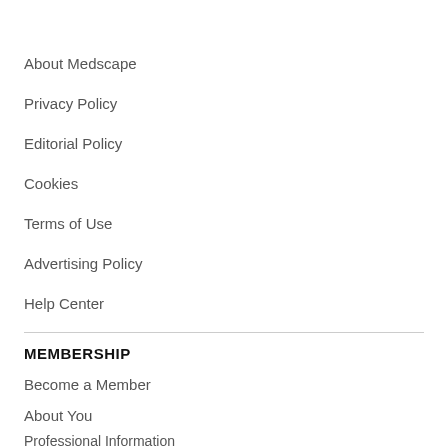About Medscape
Privacy Policy
Editorial Policy
Cookies
Terms of Use
Advertising Policy
Help Center
MEMBERSHIP
Become a Member
About You
Professional Information
Newsletters & Alerts